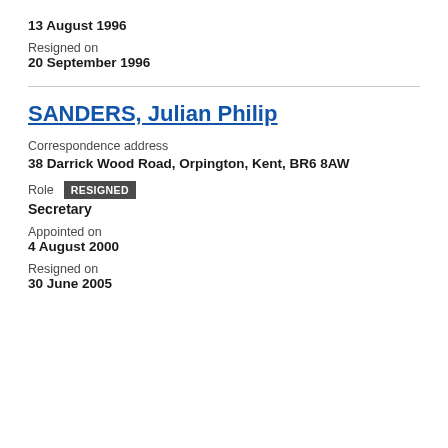13 August 1996
Resigned on
20 September 1996
SANDERS, Julian Philip
Correspondence address
38 Darrick Wood Road, Orpington, Kent, BR6 8AW
Role  RESIGNED
Secretary
Appointed on
4 August 2000
Resigned on
30 June 2005